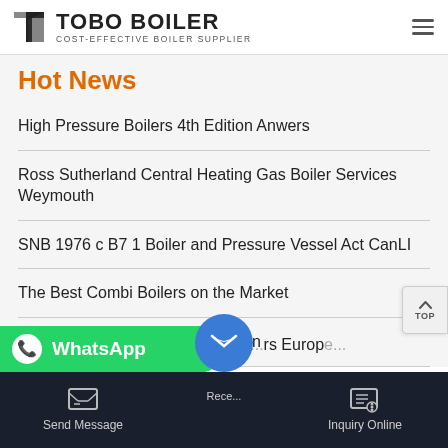TOBO BOILER - COST-EFFECTIVE BOILER SUPPLIER
Hot News
High Pressure Boilers 4th Edition Anwers
Ross Sutherland Central Heating Gas Boiler Services Weymouth
SNB 1976 c B7 1 Boiler and Pressure Vessel Act CanLI
The Best Combi Boilers on the Market
electric boiler electrolyte hydrogen
Send Message   Rece...   Inquiry Online